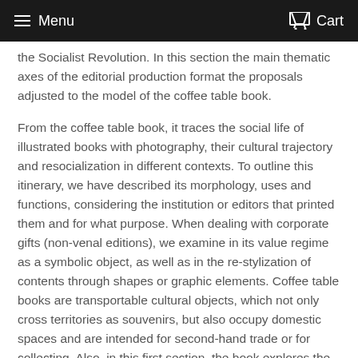Menu  Cart
the Socialist Revolution. In this section the main thematic axes of the editorial production format the proposals adjusted to the model of the coffee table book.
From the coffee table book, it traces the social life of illustrated books with photography, their cultural trajectory and resocialization in different contexts. To outline this itinerary, we have described its morphology, uses and functions, considering the institution or editors that printed them and for what purpose. When dealing with corporate gifts (non-venal editions), we examine in its value regime as a symbolic object, as well as in the re-stylization of contents through shapes or graphic elements. Coffee table books are transportable cultural objects, which not only cross territories as souvenirs, but also occupy domestic spaces and are intended for second-hand trade or for collecting. Also, in this first section, the book explores the